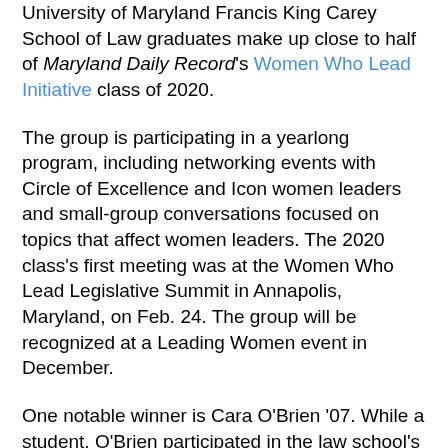University of Maryland Francis King Carey School of Law graduates make up close to half of Maryland Daily Record's Women Who Lead Initiative class of 2020.
The group is participating in a yearlong program, including networking events with Circle of Excellence and Icon women leaders and small-group conversations focused on topics that affect women leaders. The 2020 class's first meeting was at the Women Who Lead Legislative Summit in Annapolis, Maryland, on Feb. 24. The group will be recognized at a Leading Women event in December.
One notable winner is Cara O'Brien '07. While a student, O'Brien participated in the law school's Women, Leadership, and Equality Program and was a Rose Zetzer Fellow, a program offering advanced opportunities for research and practice in the area of gender equality and the law. Women, Leadership, and Equality is the first and only